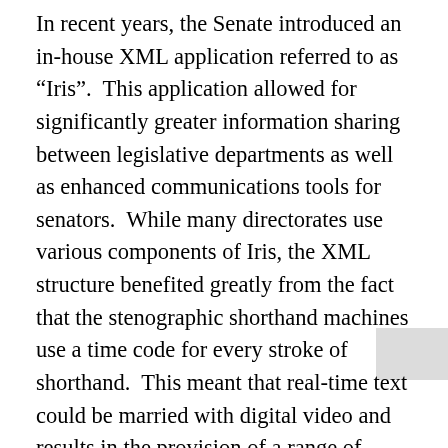In recent years, the Senate introduced an in-house XML application referred to as “Iris”.  This application allowed for significantly greater information sharing between legislative departments as well as enhanced communications tools for senators.  While many directorates use various components of Iris, the XML structure benefited greatly from the fact that the stenographic shorthand machines use a time code for every stroke of shorthand.  This meant that real-time text could be married with digital video and results in the provision of a range of communications options.  A senator’s speech as published in Hansard is now automatically extracted for use on their website in both French and English. The links are used for news flashes, to feed social media, or to reach out to constituents. Interested parties or stakeholders can follow and search debates and receive information that encourages